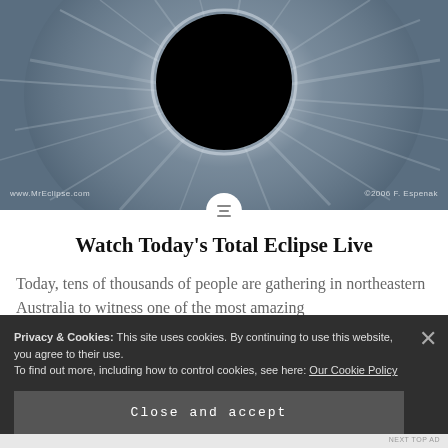[Figure (photo): Total solar eclipse photo showing the sun's corona radiating bright white streamers around a black disk (moon blocking the sun), on a blue-grey sky background. Watermarks read 'www.MrEclipse.com' on the left and '©2006 F. Espenak' on the right.]
Watch Today's Total Eclipse Live
Today, tens of thousands of people are gathering in northeastern Australia to witness one of the most amazing
Privacy & Cookies: This site uses cookies. By continuing to use this website, you agree to their use.
To find out more, including how to control cookies, see here: Our Cookie Policy
Close and accept